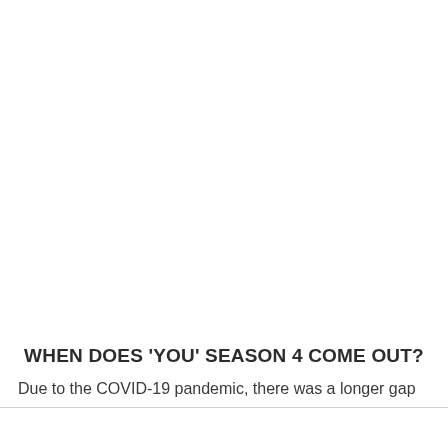WHEN DOES 'YOU' SEASON 4 COME OUT?
Due to the COVID-19 pandemic, there was a longer gap